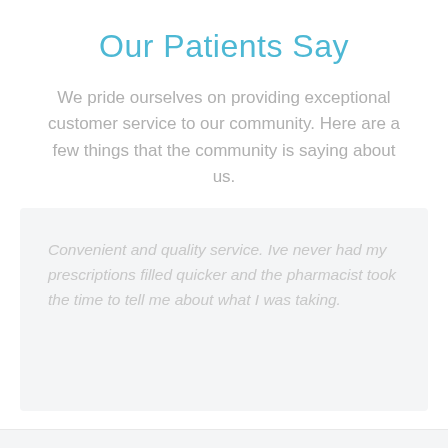Our Patients Say
We pride ourselves on providing exceptional customer service to our community. Here are a few things that the community is saying about us.
Convenient and quality service. Ive never had my prescriptions filled quicker and the pharmacist took the time to tell me about what I was taking.
ReNue Hampton
[Figure (logo): Geometric hexagonal logo made of interconnected triangular lines in light blue color - ReNue Hampton pharmacy logo]